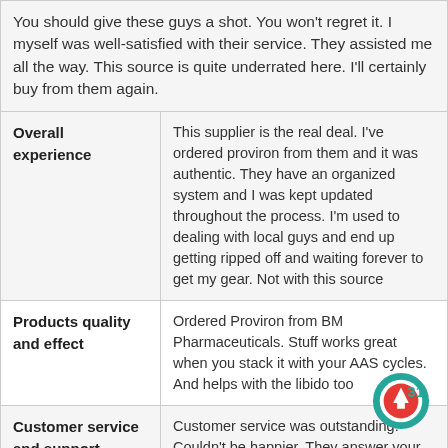|  | You should give these guys a shot. You won't regret it. I myself was well-satisfied with their service. They assisted me all the way. This source is quite underrated here. I'll certainly buy from them again. |
| Overall experience | This supplier is the real deal. I've ordered proviron from them and it was authentic. They have an organized system and I was kept updated throughout the process. I'm used to dealing with local guys and end up getting ripped off and waiting forever to get my gear. Not with this source |
| Products quality and effect | Ordered Proviron from BM Pharmaceuticals. Stuff works great when you stack it with your AAS cycles. And helps with the libido too |
| Customer service and support | Customer service was outstanding. Couldn't be happier. They answer your questions regardless of the day or time |
| Shipping and delivery | Outstanding. Package arrived within 7 days which is even faster than some domestic. |